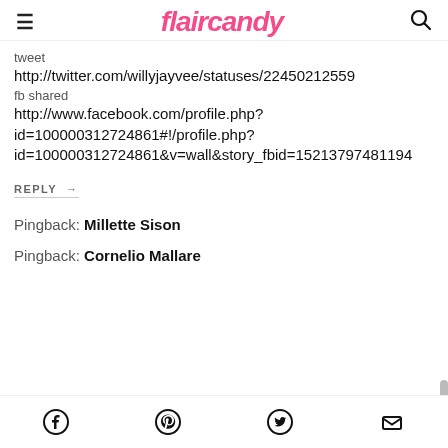flaircandy
tweet
http://twitter.com/willyjayvee/statuses/22450212559
fb shared
http://www.facebook.com/profile.php?id=100000312724861#!/profile.php?id=100000312724861&v=wall&story_fbid=152137974811194
REPLY →
Pingback: Millette Sison
Pingback: Cornelio Mallare
Facebook | Pinterest | Twitter | Email